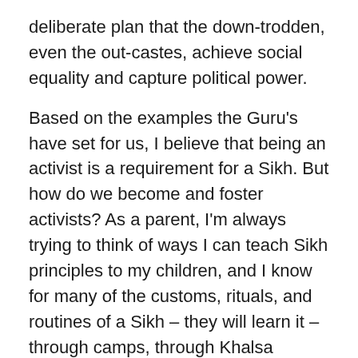deliberate plan that the down-trodden, even the out-castes, achieve social equality and capture political power.
Based on the examples the Guru's have set for us, I believe that being an activist is a requirement for a Sikh. But how do we become and foster activists? As a parent, I'm always trying to think of ways I can teach Sikh principles to my children, and I know for many of the customs, rituals, and routines of a Sikh – they will learn it – through camps, through Khalsa schools and other structured learning. But when it comes to activism, such an essential part of our faith…I believe it will only be learned through example.
So perhaps I need to be a little more outraged. Or at least not get too comfortable. Maybe I need to keep a part of me always a little restless…searching for ways I can help